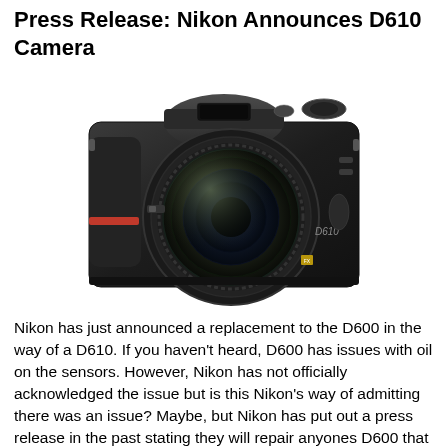Press Release: Nikon Announces D610 Camera
[Figure (photo): Front-facing photo of the Nikon D610 DSLR camera with lens attached, showing the Nikon logo on top and D610 branding on the body, black camera body with red accent stripe on left grip.]
Nikon has just announced a replacement to the D600 in the way of a D610. If you haven't heard, D600 has issues with oil on the sensors. However, Nikon has not officially acknowledged the issue but is this Nikon's way of admitting there was an issue? Maybe, but Nikon has put out a press release in the past stating they will repair anyones D600 that has issues.